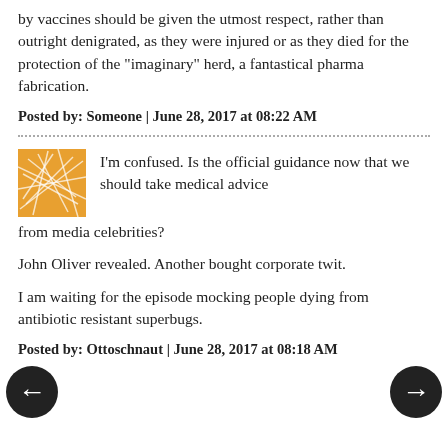by vaccines should be given the utmost respect, rather than outright denigrated, as they were injured or as they died for the protection of the "imaginary" herd, a fantastical pharma fabrication.
Posted by: Someone | June 28, 2017 at 08:22 AM
I'm confused. Is the official guidance now that we should take medical advice from media celebrities?
John Oliver revealed. Another bought corporate twit.
I am waiting for the episode mocking people dying from antibiotic resistant superbugs.
Posted by: Ottoschnaut | June 28, 2017 at 08:18 AM